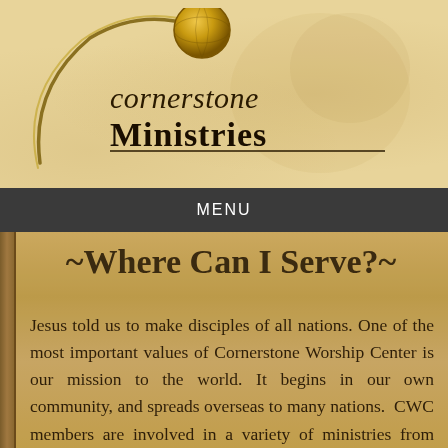[Figure (logo): Cornerstone Ministries logo with golden globe and curved swoosh forming a C shape, with text 'cornerstone Ministries' in serif/script font]
MENU
~Where Can I Serve?~
Jesus told us to make disciples of all nations. One of the most important values of Cornerstone Worship Center is our mission to the world. It begins in our own community, and spreads overseas to many nations.  CWC members are involved in a variety of ministries from things as foundational as greeting those who come to worship with us, to distributing food to the needy of our community on Fridays, to traveling to the nations. We encourage you to